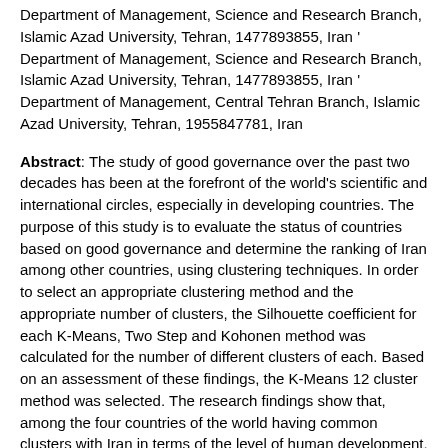Department of Management, Science and Research Branch, Islamic Azad University, Tehran, 1477893855, Iran ' Department of Management, Science and Research Branch, Islamic Azad University, Tehran, 1477893855, Iran ' Department of Management, Central Tehran Branch, Islamic Azad University, Tehran, 1955847781, Iran
Abstract: The study of good governance over the past two decades has been at the forefront of the world's scientific and international circles, especially in developing countries. The purpose of this study is to evaluate the status of countries based on good governance and determine the ranking of Iran among other countries, using clustering techniques. In order to select an appropriate clustering method and the appropriate number of clusters, the Silhouette coefficient for each K-Means, Two Step and Kohonen method was calculated for the number of different clusters of each. Based on an assessment of these findings, the K-Means 12 cluster method was selected. The research findings show that, among the four countries of the world having common clusters with Iran in terms of the level of human development, Iran ranks among the 'Lowlevel developing countries' and 'Moderate developing countries'. This issue highlights the importance of